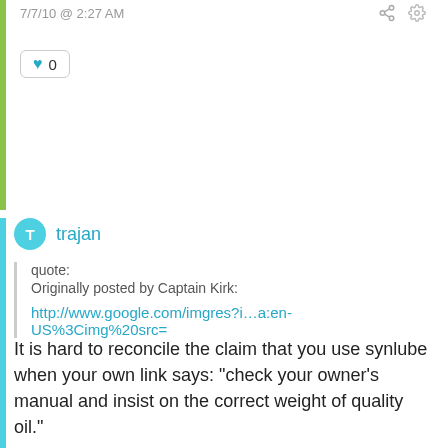7/7/10 @ 2:27 AM
0
trajan
quote:
Originally posted by Captain Kirk:

http://www.google.com/imgres?i…a:en-US%3Cimg%20src=
It is hard to reconcile the claim that you use synlube when your own link says: "check your owner's manual and insist on the correct weight of quality oil."